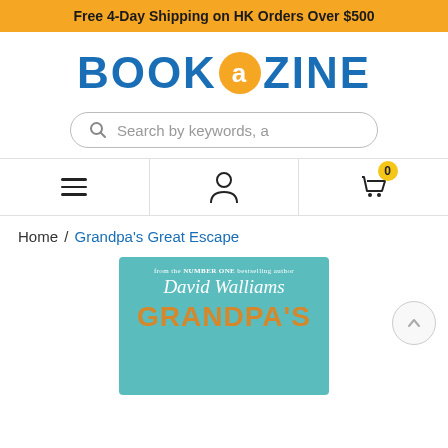Free 4-Day Shipping on HK Orders Over $500
[Figure (logo): BOOKAZINE logo with orange circle containing lowercase 'a' between blue BOOK and ZINE text]
Search by keywords, a
[Figure (infographic): Navigation bar with hamburger menu, user icon, and shopping cart with badge showing 0]
Home / Grandpa's Great Escape
[Figure (photo): Book cover of Grandpa's Great Escape by David Walliams on teal background showing author name in white italic script and GRANDPA'S in large orange letters]